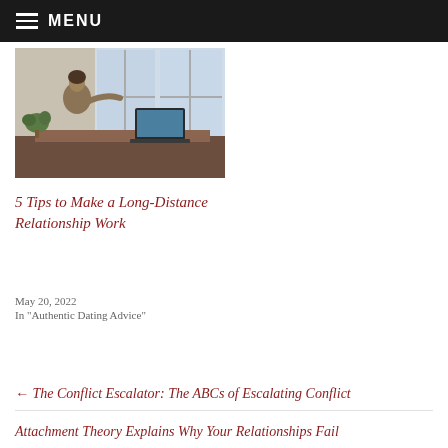MENU
[Figure (photo): A person sitting at a desk near large windows, gesturing while on a video call on a laptop, with plants visible in the background.]
5 Tips to Make a Long-Distance Relationship Work
May 20, 2022
In "Authentic Dating Advice"
← The Conflict Escalator: The ABCs of Escalating Conflict
Attachment Theory Explains Why Your Relationships Fail